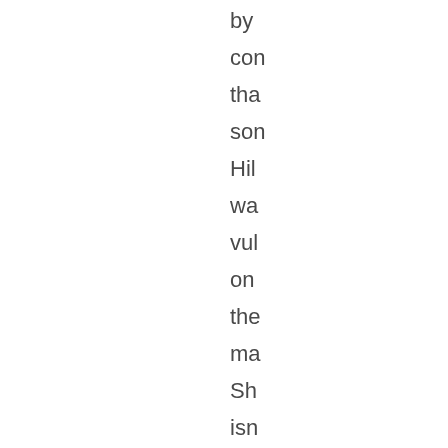by
con
tha
son
Hil
wa
vul
on
the
ma
Sh
isn
Bu
AN
dis
on
for